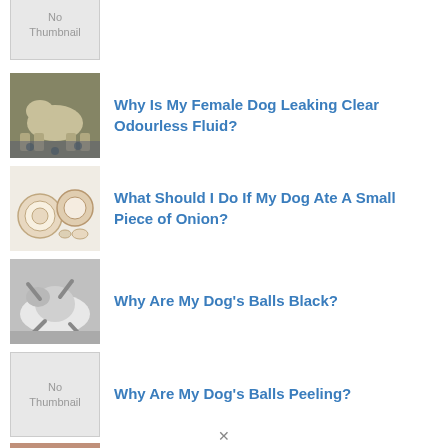[Figure (photo): No Thumbnail placeholder image at top (partially visible)]
[Figure (photo): Photo of a white dog lying on a paw-print mat on the floor]
Why Is My Female Dog Leaking Clear Odourless Fluid?
[Figure (photo): Photo of onion pieces and slices on a white background]
What Should I Do If My Dog Ate A Small Piece of Onion?
[Figure (photo): Black and white photo of a dog rolling on grass]
Why Are My Dog’s Balls Black?
[Figure (photo): No Thumbnail placeholder image]
Why Are My Dog’s Balls Peeling?
[Figure (photo): Partial photo visible at bottom of page]
My Dog Has Loose Stools And…